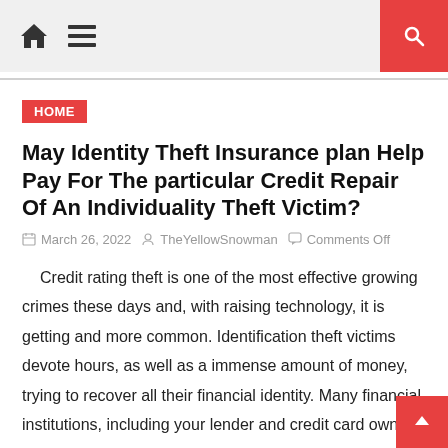HOME [nav icon] [menu icon] [search icon]
HOME
May Identity Theft Insurance plan Help Pay For The particular Credit Repair Of An Individuality Theft Victim?
March 26, 2022   TheYellowSnowman   Comments Off
Credit rating theft is one of the most effective growing crimes these days and, with raising technology, it is getting and more common. Identification theft victims devote hours, as well as a immense amount of money, trying to recover all their financial identity. Many financial institutions, including your lender and credit card owners,